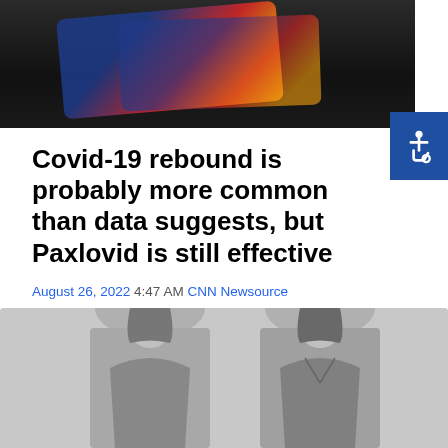[Figure (photo): Top portion of page showing a dark background with what appears to be a colorful card (blue, red, yellow) being held, partially visible at top of page]
Covid-19 rebound is probably more common than data suggests, but Paxlovid is still effective
August 26, 2022 4:47 AM CNN Newsource
By Deidre McPhillips, CNN As the coronavirus evolves, the number of treatment options that remain effective against new variants has dwindled.…
Continue Reading
[Figure (photo): Black and white photograph showing two women from the neck/shoulders down, wearing sleeveless tops/vests, facing away from each other or side by side]